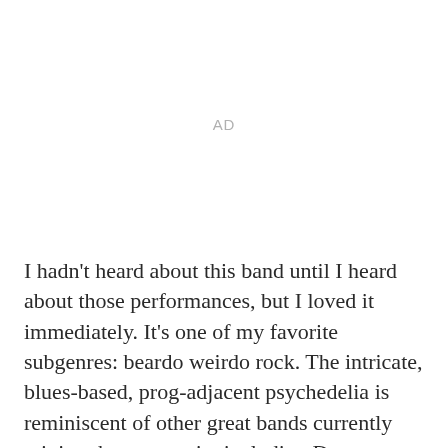[Figure (other): AD placeholder — advertisement space]
I hadn't heard about this band until I heard about those performances, but I loved it immediately. It's one of my favorite subgenres: beardo weirdo rock. The intricate, blues-based, prog-adjacent psychedelia is reminiscent of other great bands currently mining the same vein, including Dungen, Black Mountain, and White Denim (all of whom I